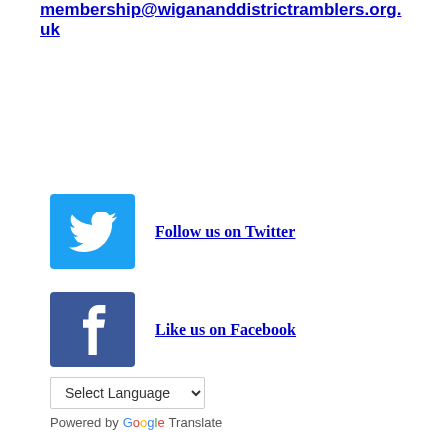membership@wigananddistrict​ramblers.org.uk
[Figure (logo): Twitter bird logo icon, white bird on blue background]
Follow us on Twitter
[Figure (logo): Facebook 'f' logo icon, white f on dark blue background]
Like us on Facebook
Select Language
Powered by Google Translate